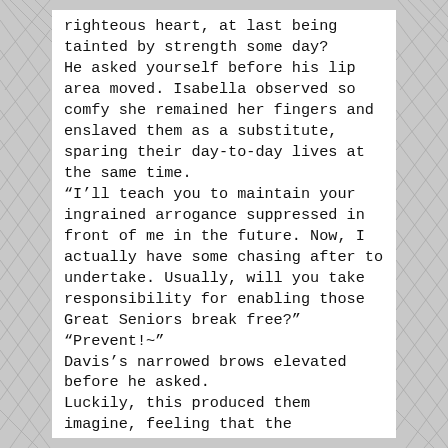righteous heart, at last being tainted by strength some day?
He asked yourself before his lip area moved. Isabella observed so comfy she remained her fingers and enslaved them as a substitute, sparing their day-to-day lives at the same time.
“I’ll teach you to maintain your ingrained arrogance suppressed in front of me in the future. Now, I actually have some chasing after to undertake. Usually, will you take responsibility for enabling those Great Seniors break free?"
“Prevent!~"
Davis’s narrowed brows elevated before he asked.
Luckily, this produced them imagine, feeling that the determination to have their mouths shut and put it off it out was the correct selection to produce. Normally, they might’ve needlessly procured the ire in the Emperor of Loss.
The Mandate Emperor paused for a second before he had taken a deep inhale and spoke.
“I would like your power’s Mandate Legal guidelines assets and techniques."